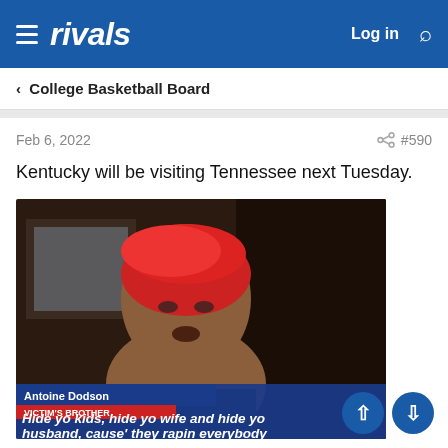rivals | Log in | Search
< College Basketball Board
Feb 6, 2022  #590
Kentucky will be visiting Tennessee next Tuesday.
[Figure (screenshot): Video screenshot of Antoine Dodson (Victim's Brother) with caption text: Hide yo kids, hide yo wife and hide yo husband, cause' they rapin everybody]
Antoine Dodson / VICTIM'S BROTHER — Hide yo kids, hide yo wife and hide yo husband, cause' they rapin everybody